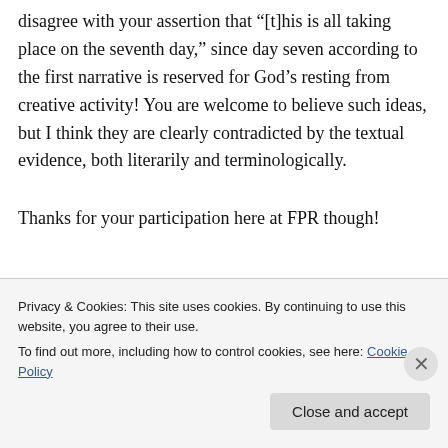disagree with your assertion that “[t]his is all taking place on the seventh day,” since day seven according to the first narrative is reserved for God's resting from creative activity! You are welcome to believe such ideas, but I think they are clearly contradicted by the textual evidence, both literarily and terminologically.
Thanks for your participation here at FPR though!
Privacy & Cookies: This site uses cookies. By continuing to use this website, you agree to their use.
To find out more, including how to control cookies, see here: Cookie Policy